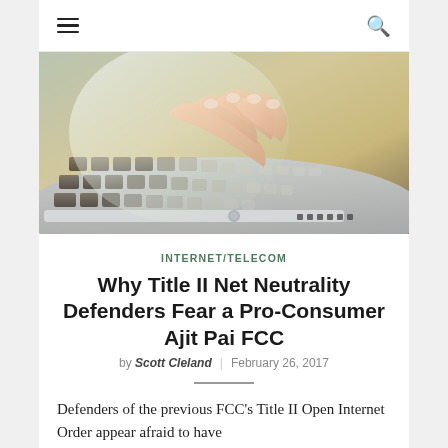≡  🔍
[Figure (photo): Close-up photo of hands typing on a laptop keyboard with a glowing light effect overlay]
INTERNET/TELECOM
Why Title II Net Neutrality Defenders Fear a Pro-Consumer Ajit Pai FCC
by Scott Cleland  |  February 26, 2017
Defenders of the previous FCC's Title II Open Internet Order appear afraid to have